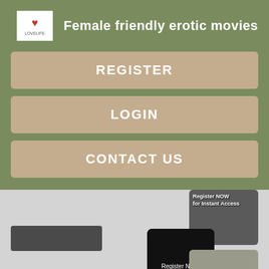Female friendly erotic movies
REGISTER
LOGIN
CONTACT US
[Figure (screenshot): Website screenshot showing menu navigation with Register, Login, Contact Us buttons on an olive green background, plus thumbnail images below with 'Register NOW for Instant Access' overlays]
Register NOW for Instant Access
Register NOW for Instant Access
Register NOW for Instant Access